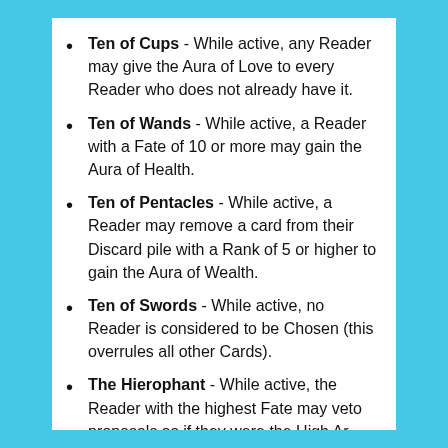Ten of Cups - While active, any Reader may give the Aura of Love to every Reader who does not already have it.
Ten of Wands - While active, a Reader with a Fate of 10 or more may gain the Aura of Health.
Ten of Pentacles - While active, a Reader may remove a card from their Discard pile with a Rank of 5 or higher to gain the Aura of Wealth.
Ten of Swords - While active, no Reader is considered to be Chosen (this overrules all other Cards).
The Hierophant - While active, the Reader with the highest Fate may veto proposals as if they were the High Ar...